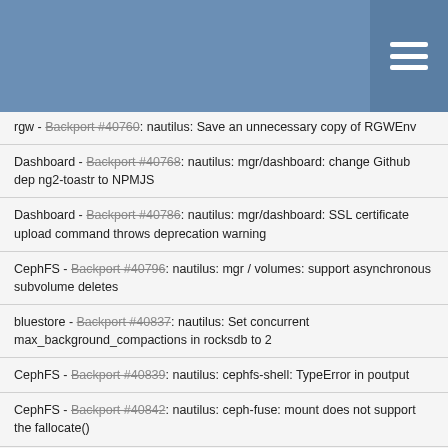rgw - Backport #40760: nautilus: Save an unnecessary copy of RGWEnv
Dashboard - Backport #40768: nautilus: mgr/dashboard: change Github dep ng2-toastr to NPMJS
Dashboard - Backport #40786: nautilus: mgr/dashboard: SSL certificate upload command throws deprecation warning
CephFS - Backport #40796: nautilus: mgr / volumes: support asynchronous subvolume deletes
bluestore - Backport #40837: nautilus: Set concurrent max_background_compactions in rocksdb to 2
CephFS - Backport #40839: nautilus: cephfs-shell: TypeError in poutput
CephFS - Backport #40842: nautilus: ceph-fuse: mount does not support the fallocate()
CephFS - Backport #40843: nautilus: cephfs-shell: name 'files' is not defined error in do_rm()
CephFS - Backport #40845: nautilus: MDSMonitor: use stringstream instead of dout for mds repaired
Dashboard - Backport #40846: nautilus: mgr/dashboard: controllers/grafana is not Python 3 compatible